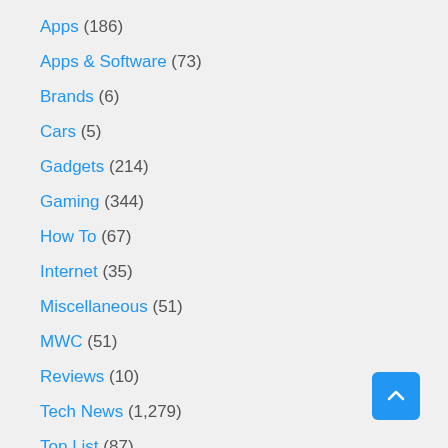Apps (186)
Apps & Software (73)
Brands (6)
Cars (5)
Gadgets (214)
Gaming (344)
How To (67)
Internet (35)
Miscellaneous (51)
MWC (51)
Reviews (10)
Tech News (1,279)
Top List (87)
Uncategorized (1)